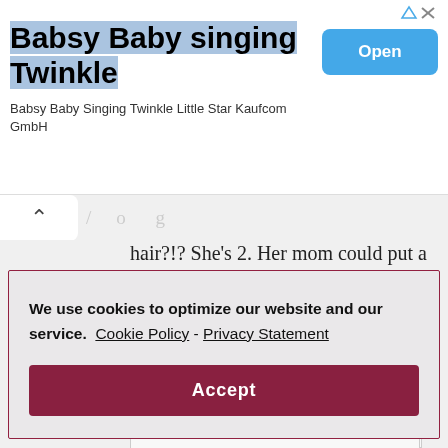[Figure (other): Advertisement banner: Babsy Baby singing Twinkle app ad with blue highlighted title, subtitle 'Babsy Baby Singing Twinkle Little Star Kaufcom GmbH', and blue 'Open' button. Ad attribution icons top right.]
hair?!? She’s 2. Her mom could put a
We use cookies to optimize our website and our service.  Cookie Policy - Privacy Statement
Accept
Reply